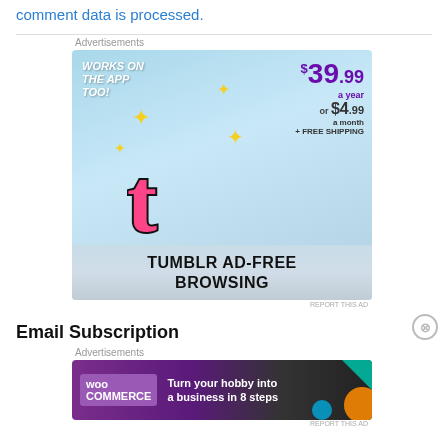comment data is processed.
Advertisements
[Figure (illustration): Tumblr Ad-Free Browsing advertisement. Sky blue background with Tumblr 't' logo in pink/purple. Text: WORKS ON THE APP TOO!, $39.99 a year or $4.99 a month + FREE SHIPPING. Bottom text: TUMBLR AD-FREE BROWSING.]
REPORT THIS AD
Email Subscription
Advertisements
[Figure (illustration): WooCommerce advertisement. Purple/dark background with WooCommerce logo and text: Turn your hobby into a business in 8 steps. Colorful geometric shapes on right.]
REPORT THIS AD